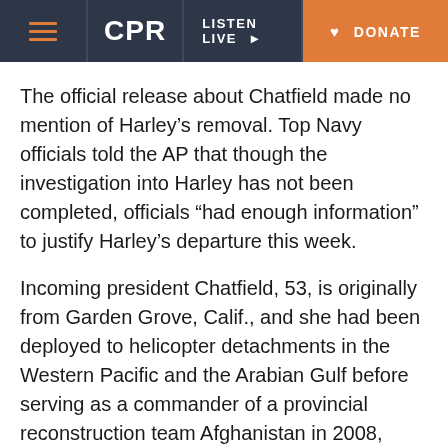CPR | LISTEN LIVE | DONATE
The official release about Chatfield made no mention of Harley’s removal. Top Navy officials told the AP that though the investigation into Harley has not been completed, officials “had enough information” to justify Harley’s departure this week.
Incoming president Chatfield, 53, is originally from Garden Grove, Calif., and she had been deployed to helicopter detachments in the Western Pacific and the Arabian Gulf before serving as a commander of a provincial reconstruction team Afghanistan in 2008, according to the Navy. Chatfield, who has a doctorate in education, has also taught political